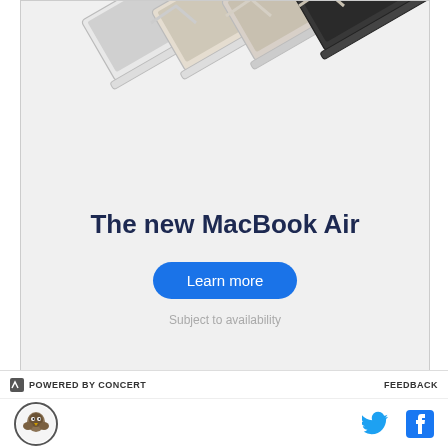[Figure (photo): Four MacBook Air laptops in different colors (silver, starlight, gold, midnight) shown diagonally arranged, partially open, on a light gray background]
The new MacBook Air
Learn more
Subject to availability
POWERED BY CONCERT   FEEDBACK
[Figure (logo): Circular organizational logo with tiger/eagle emblem]
[Figure (logo): Twitter bird icon and Facebook f icon in blue]